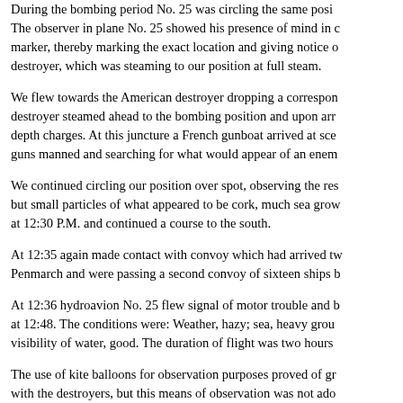During the bombing period No. 25 was circling the same posi. The observer in plane No. 25 showed his presence of mind in c marker, thereby marking the exact location and giving notice o destroyer, which was steaming to our position at full steam.
We flew towards the American destroyer dropping a correspon destroyer steamed ahead to the bombing position and upon arr depth charges. At this juncture a French gunboat arrived at sce guns manned and searching for what would appear of an enem
We continued circling our position over spot, observing the res but small particles of what appeared to be cork, much sea grow at 12:30 P.M. and continued a course to the south.
At 12:35 again made contact with convoy which had arrived tw Penmarch and were passing a second convoy of sixteen ships b
At 12:36 hydroavion No. 25 flew signal of motor trouble and b at 12:48. The conditions were: Weather, hazy; sea, heavy grou visibility of water, good. The duration of flight was two hours
The use of kite balloons for observation purposes proved of gr with the destroyers, but this means of observation was not ado the war. Early in August, 19 18, a trial trip with a kite balloon Extremely rough weather, a number of minor defects (partly d inexperience of the crew and the carelessness of the balloon s